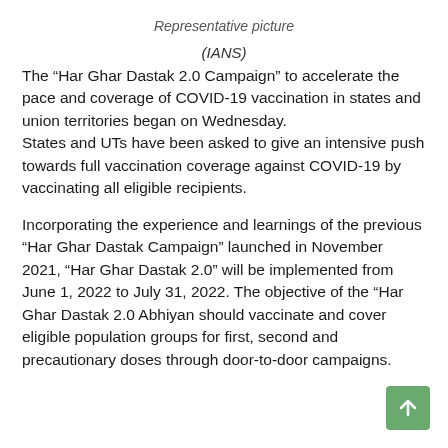Representative picture
(IANS)
The “Har Ghar Dastak 2.0 Campaign” to accelerate the pace and coverage of COVID-19 vaccination in states and union territories began on Wednesday.
States and UTs have been asked to give an intensive push towards full vaccination coverage against COVID-19 by vaccinating all eligible recipients.
Incorporating the experience and learnings of the previous “Har Ghar Dastak Campaign” launched in November 2021, “Har Ghar Dastak 2.0” will be implemented from June 1, 2022 to July 31, 2022. The objective of the “Har Ghar Dastak 2.0 Abhiyan should vaccinate and cover eligible population groups for first, second and precautionary doses through door-to-door campaigns.